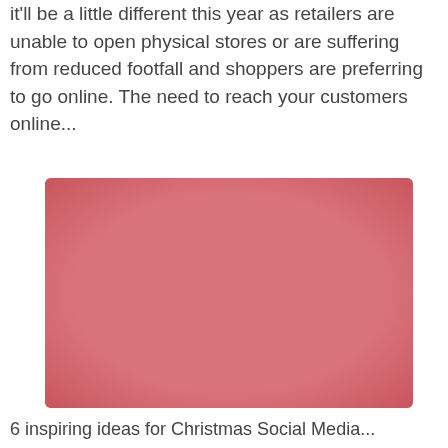it'll be a little different this year as retailers are unable to open physical stores or are suffering from reduced footfall and shoppers are preferring to go online. The need to reach your customers online...
[Figure (photo): A blurred pinkish-red rectangular image placeholder, likely a featured article image related to Christmas social media ideas.]
6 inspiring ideas for Christmas Social Media...